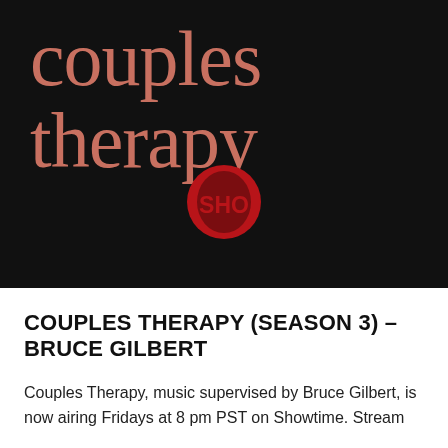[Figure (photo): Black background promotional image for the Showtime TV show 'Couples Therapy'. Large salmon/rose-pink serif text reads 'couples therapy' across the top. Below is the Showtime 'SHO' logo in red.]
COUPLES THERAPY (SEASON 3) – BRUCE GILBERT
Couples Therapy, music supervised by Bruce Gilbert, is now airing Fridays at 8 pm PST on Showtime. Stream